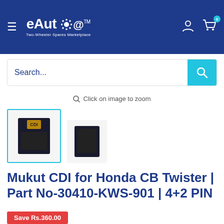[Figure (screenshot): eAuto Two-Wheeler Spares Marketplace navigation header with dark blue background, hamburger menu, logo, user icon, and cart icon with badge showing 0]
[Figure (screenshot): Search bar with placeholder text 'Search...' and teal search button]
Click on image to zoom
[Figure (photo): Two product thumbnail images of Mukut CDI unit — left thumbnail selected with teal border, right thumbnail unselected]
Mukut CDI for Honda CB Twister | Part No-30410-KWS-901 | 4+2 PIN
Save Rs.360.00